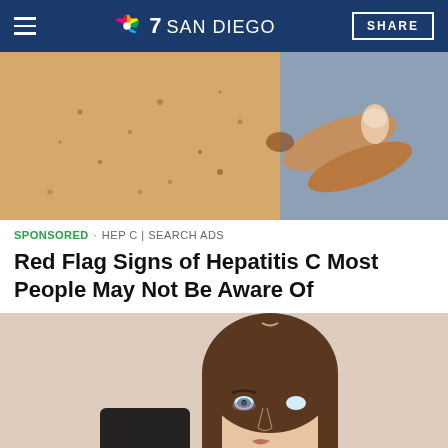NBC 7 SAN DIEGO | SHARE
[Figure (photo): Close-up photo of a hand touching skin with small spots/blemishes]
SPONSORED · HEP C | SEARCH ADS
Red Flag Signs of Hepatitis C Most People May Not Be Aware Of
[Figure (photo): Young woman with brown hair holding a dark card/device, looking at camera]